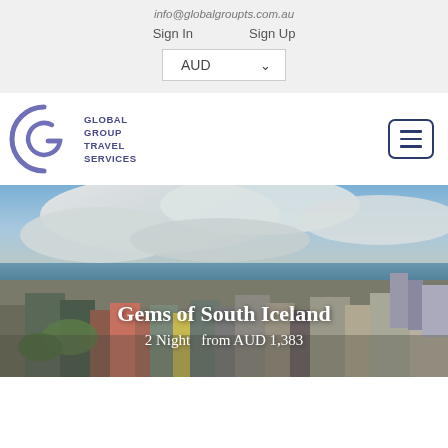info@globalgroupts.com.au
Sign In    Sign Up
AUD
[Figure (logo): Global Group Travel Services logo with purple arc/G shape and text]
[Figure (photo): Aerial panoramic view of Reykjavik Iceland cityscape with ocean and cloudy sky]
Gems of South Iceland
2 Night  from AUD 1,383